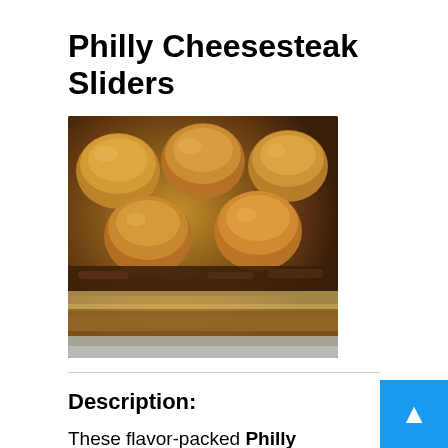Philly Cheesesteak Sliders
[Figure (photo): Close-up photo of baked Philly Cheesesteak Sliders in a pan, showing golden-brown rolls with meat and cheese filling visible]
Description:
These flavor-packed Philly Cheesesteak Sliders are the best finger food for parties! Juicy shaved beef strips mingle with tender sautéed peppers and onions, topped with cheese on a soft and fluffy You can't beat this easy appetizer on Game Day!